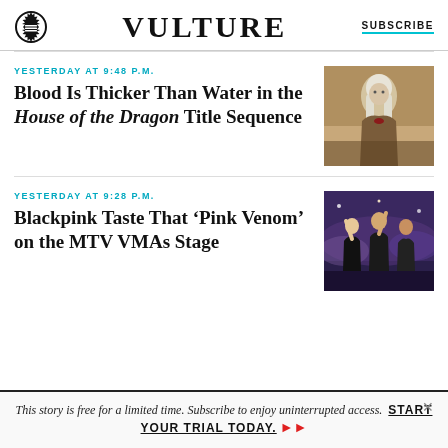VULTURE | SUBSCRIBE
YESTERDAY AT 9:48 P.M.
Blood Is Thicker Than Water in the House of the Dragon Title Sequence
[Figure (photo): A woman with long white/blonde hair in period costume from House of the Dragon]
YESTERDAY AT 9:28 P.M.
Blackpink Taste That ‘Pink Venom’ on the MTV VMAs Stage
[Figure (photo): Blackpink performing on the MTV VMAs stage, members in black outfits with arms raised]
This story is free for a limited time. Subscribe to enjoy uninterrupted access. START YOUR TRIAL TODAY.